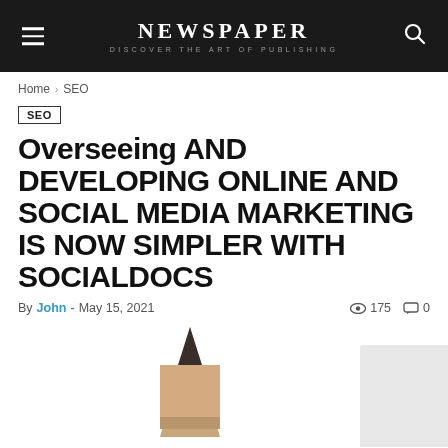NEWSPAPER — DISCOVER THE ART OF PUBLISHING
Home › SEO
SEO
Overseeing AND DEVELOPING ONLINE AND SOCIAL MEDIA MARKETING IS NOW SIMPLER WITH SOCIALDOCS
By John - May 15, 2021  175  0
[Figure (photo): Partial view of a pencil tip and a white card element at bottom of page]